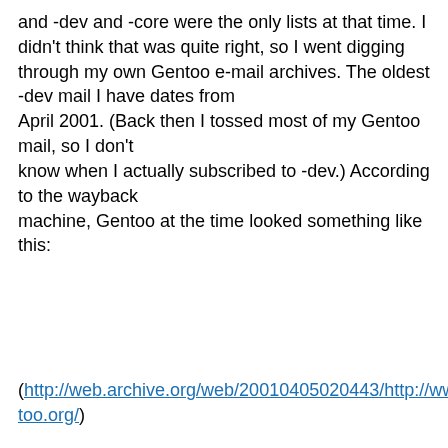and -dev and -core were the only lists at that time. I didn't think that was quite right, so I went digging through my own Gentoo e-mail archives. The oldest -dev mail I have dates from April 2001. (Back then I tossed most of my Gentoo mail, so I don't know when I actually subscribed to -dev.) According to the wayback machine, Gentoo at the time looked something like this:
(http://web.archive.org/web/20010405020443/http://www.gentoo.org/)
Back when "every user was a hacker", the only lists were -dev and -announce. With a bit of additional digging I discovered that -user appears to have been created in Oct. 2001, while -core didn't